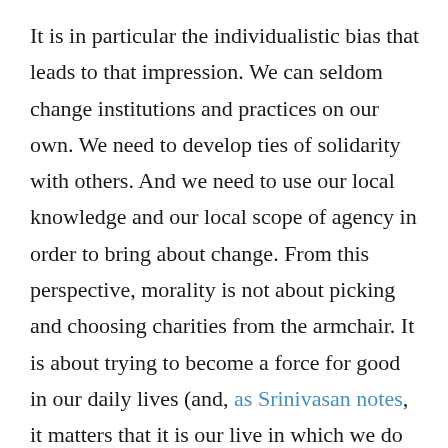It is in particular the individualistic bias that leads to that impression. We can seldom change institutions and practices on our own. We need to develop ties of solidarity with others. And we need to use our local knowledge and our local scope of agency in order to bring about change. From this perspective, morality is not about picking and choosing charities from the armchair. It is about trying to become a force for good in our daily lives (and, as Srinivasan notes, it matters that it is our live in which we do so), and contributing to whatever cause it is we can contribute to – actively, passionately, and in order to bring about lasting change that brings institutions and practices in line with our moral values and ideals. Currently, the fight against climate change dominates the human story, contributing